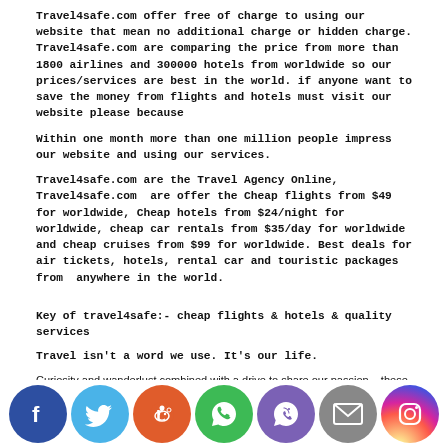Travel4safe.com offer free of charge to using our website that mean no additional charge or hidden charge. Travel4safe.com are comparing the price from more than 1800 airlines and 300000 hotels from worldwide so our prices/services are best in the world. if anyone want to save the money from flights and hotels must visit our website please because
Within one month more than one million people impress our website and using our services.
Travel4safe.com are the Travel Agency Online, Travel4safe.com are offer the Cheap flights from $49 for worldwide, Cheap hotels from $24/night for worldwide, cheap car rentals from $35/day for worldwide and cheap cruises from $99 for worldwide. Best deals for air tickets, hotels, rental car and touristic packages from anywhere in the world.
Key of travel4safe:- cheap flights & hotels & quality services
Travel isn't a word we use. It's our life.
Curiosity and wanderlust combined with a drive to share our passion – these are the elements that motivated us to found the Travel4safe Group. Our joy is in helping millions of people reach the farthest corners of the globe. Because our ears are always open and listening to travellers we know how to adapt our tools to meet their needs.
[Figure (infographic): Social media sharing icons in circular buttons: Facebook (blue), Twitter (light blue), Reddit (orange), WhatsApp (green), Viber (purple), Email (grey), Instagram (gradient)]